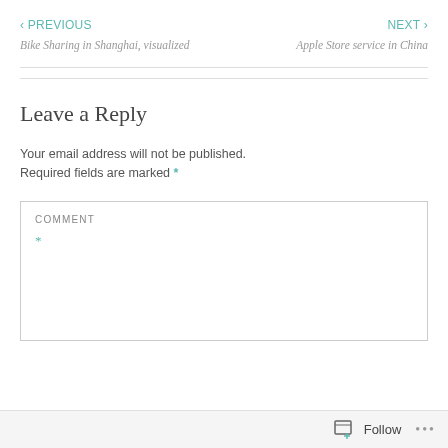‹ PREVIOUS
Bike Sharing in Shanghai, visualized
NEXT ›
Apple Store service in China
Leave a Reply
Your email address will not be published. Required fields are marked *
COMMENT *
Follow ...